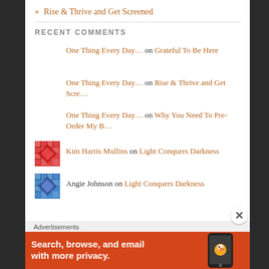» Rise & Thrive and Get Screened
RECENT COMMENTS
One Thing Every Day… on Grateful To Be Here
One Thing Every Day… on Rise & Thrive and Get Scre…
One Thing Every Day… on Why You Need To Pre-Order My B…
Kim Harris Mullins on Light Conquers Darkness
Angie Johnson on Light Conquers Darkness
Advertisements
[Figure (screenshot): Orange advertisement banner for DuckDuckGo: 'Search, browse, and email with more privacy.' with phone graphic]